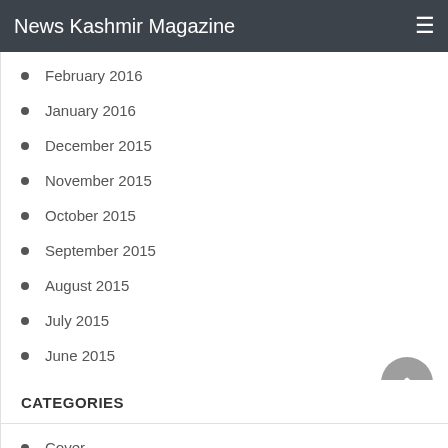News Kashmir Magazine
February 2016
January 2016
December 2015
November 2015
October 2015
September 2015
August 2015
July 2015
June 2015
CATEGORIES
Cover